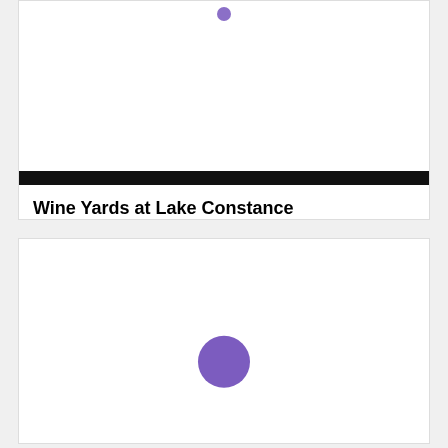[Figure (photo): Top card with white image area, a small purple dot near the top center, a thick black horizontal bar below the image area, and a bold title 'Wine Yards at Lake Constance' below the bar.]
Wine Yards at Lake Constance
[Figure (illustration): Bottom card with a large purple circle centered slightly below the middle of the card on a white background.]